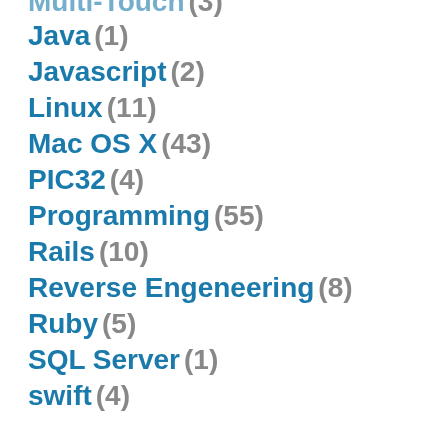Java (1)
Javascript (2)
Linux (11)
Mac OS X (43)
PIC32 (4)
Programming (55)
Rails (10)
Reverse Engeneering (8)
Ruby (5)
SQL Server (1)
swift (4)